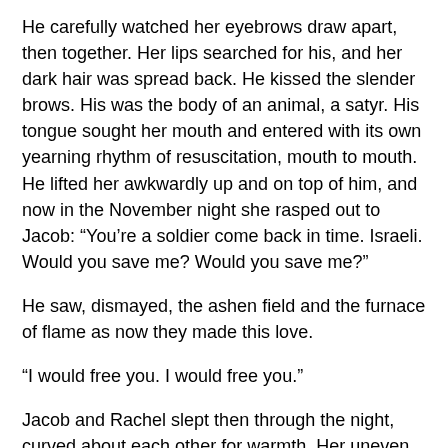He carefully watched her eyebrows draw apart, then together. Her lips searched for his, and her dark hair was spread back. He kissed the slender brows. His was the body of an animal, a satyr. His tongue sought her mouth and entered with its own yearning rhythm of resuscitation, mouth to mouth. He lifted her awkwardly up and on top of him, and now in the November night she rasped out to Jacob: “You’re a soldier come back in time. Israeli. Would you save me? Would you save me?”
He saw, dismayed, the ashen field and the furnace of flame as now they made this love.
“I would free you. I would free you.”
Jacob and Rachel slept then through the night, curved about each other for warmth. Her uneven breaths would remind him that she was the child of survivors. His hairy, angular arms and legs wrapped around her, assured her that she was entitled to breathe, to endure.
Later, in the dawn’s first whitening, she awoke, and he